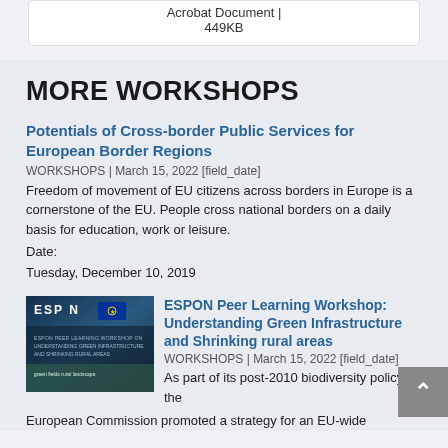Acrobat Document | 449KB
MORE WORKSHOPS
Potentials of Cross-border Public Services for European Border Regions
WORKSHOPS | March 15, 2022 [field_date]
Freedom of movement of EU citizens across borders in Europe is a cornerstone of the EU. People cross national borders on a daily basis for education, work or leisure.
Date:
Tuesday, December 10, 2019
[Figure (photo): ESPON workshop thumbnail image with dark blue background, ESPON logo and EU flag]
ESPON Peer Learning Workshop: Understanding Green Infrastructure and Shrinking rural areas
WORKSHOPS | March 15, 2022 [field_date]
As part of its post-2010 biodiversity policy, the European Commission promoted a strategy for an EU-wide